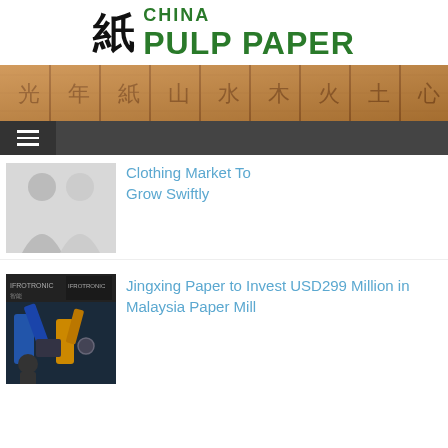[Figure (logo): China Pulp Paper logo with Chinese kanji character and green bold text]
[Figure (photo): Banner image showing wooden tiles with Chinese characters engraved]
[Figure (screenshot): Navigation bar with hamburger menu icon on dark background]
[Figure (photo): Placeholder silhouette image for Clothing Market article]
Clothing Market To Grow Swiftly
[Figure (photo): Photo of industrial robotics machinery at a trade show, with IFROTRONIC branding]
Jingxing Paper to Invest USD299 Million in Malaysia Paper Mill